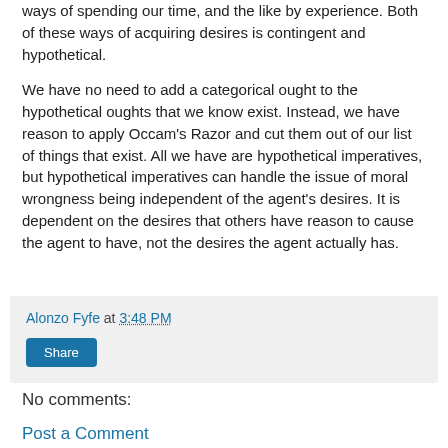ways of spending our time, and the like by experience. Both of these ways of acquiring desires is contingent and hypothetical.
We have no need to add a categorical ought to the hypothetical oughts that we know exist. Instead, we have reason to apply Occam's Razor and cut them out of our list of things that exist. All we have are hypothetical imperatives, but hypothetical imperatives can handle the issue of moral wrongness being independent of the agent's desires. It is dependent on the desires that others have reason to cause the agent to have, not the desires the agent actually has.
Alonzo Fyfe at 3:48 PM
Share
No comments:
Post a Comment